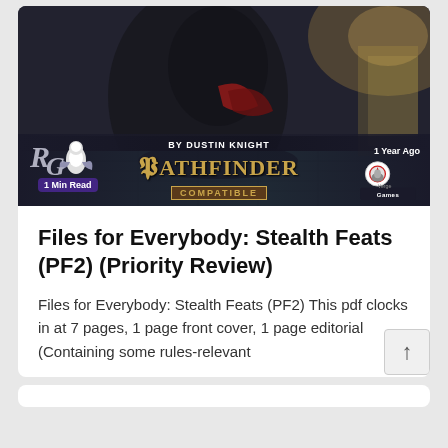[Figure (illustration): Dark fantasy illustration showing a cloaked figure in a shadowy dungeon/corridor setting with teal/turquoise floor tiles visible at the bottom. Overlaid with logos: Rogue Genius Games logo on left, 'BY DUSTIN KNIGHT' text above a Pathfinder Compatible logo in center, and a Vergegames badge on the right. '1 Min Read' badge overlaid on left logo area. '1 Year Ago' text overlaid on right badge.]
Files for Everybody: Stealth Feats (PF2) (Priority Review)
Files for Everybody: Stealth Feats (PF2) This pdf clocks in at 7 pages, 1 page front cover, 1 page editorial (Containing some rules-relevant